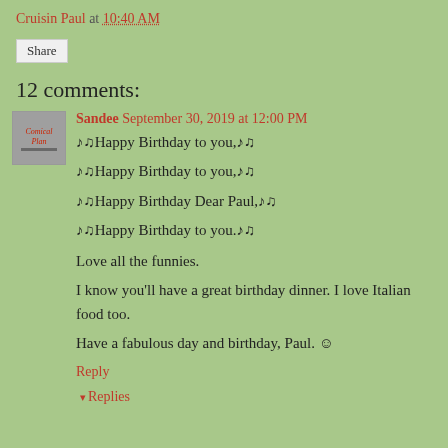Cruisin Paul at 10:40 AM
Share
12 comments:
Sandee  September 30, 2019 at 12:00 PM
♪♫Happy Birthday to you,♪♫
♪♫Happy Birthday to you,♪♫
♪♫Happy Birthday Dear Paul,♪♫
♪♫Happy Birthday to you.♪♫

Love all the funnies.

I know you'll have a great birthday dinner. I love Italian food too.

Have a fabulous day and birthday, Paul. ☺
Reply
Replies